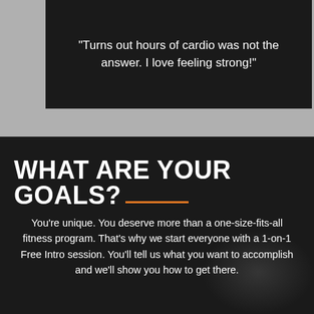“Turns out hours of cardio was not the answer. I love feeling strong!”
WHAT ARE YOUR GOALS?
You’re unique. You deserve more than a one-size-fits-all fitness program. That’s why we start everyone with a 1-on-1 Free Intro session. You’ll tell us what you want to accomplish and we’ll show you how to get there.